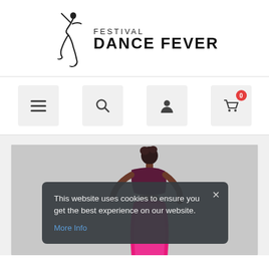[Figure (logo): Festival Dance Fever logo with dancer silhouette and text 'FESTIVAL DANCE FEVER']
[Figure (infographic): Navigation bar with hamburger menu, search, user account, and shopping cart (badge showing 0) icon buttons]
[Figure (photo): Dancer wearing pink skirt and purple top against grey background]
This website uses cookies to ensure you get the best experience on our website. More Info